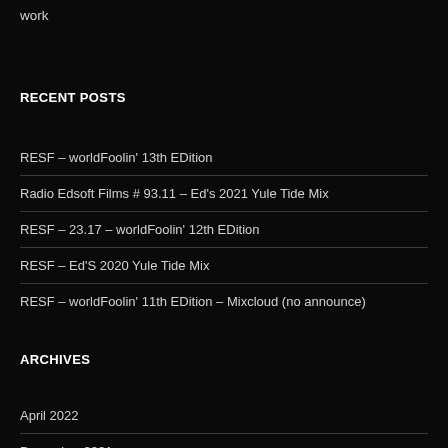work
RECENT POSTS
RESF – worldFoolin' 13th EDition
Radio Edsoft Films # 93.11 – Ed's 2021 Yule Tide Mix
RESF – 23.17 – worldFoolin' 12th EDition
RESF – Ed'S 2020 Yule Tide Mix
RESF – worldFoolin' 11th EDition – Mixcloud (no announce)
ARCHIVES
April 2022
December 2021